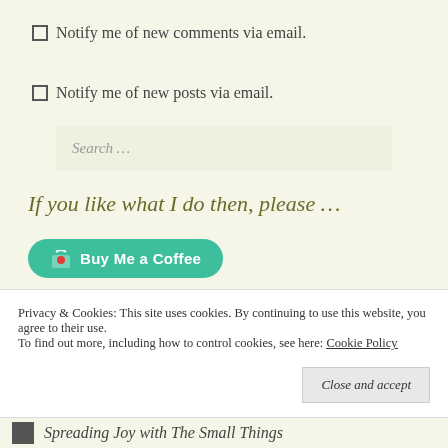Notify me of new comments via email.
Notify me of new posts via email.
Search …
If you like what I do then, please …
[Figure (other): Buy Me a Coffee button — teal rounded button with heart icon and text 'Buy Me a Coffee']
Privacy & Cookies: This site uses cookies. By continuing to use this website, you agree to their use.
To find out more, including how to control cookies, see here: Cookie Policy
Close and accept
Spreading Joy with The Small Things